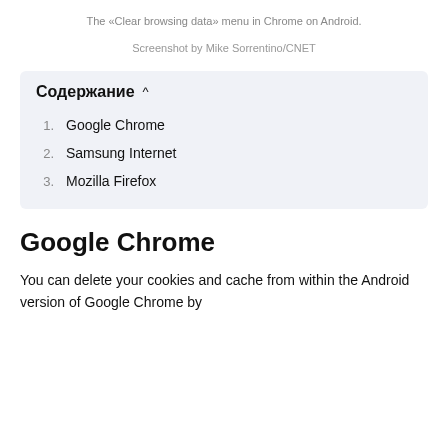The «Clear browsing data» menu in Chrome on Android.
Screenshot by Mike Sorrentino/CNET
Содержание ^
1. Google Chrome
2. Samsung Internet
3. Mozilla Firefox
Google Chrome
You can delete your cookies and cache from within the Android version of Google Chrome by